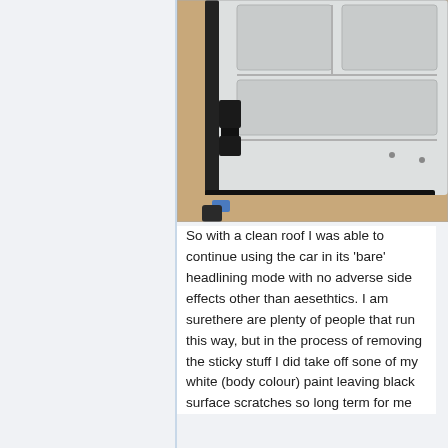[Figure (photo): Photo of a white car roof/headlining panel removed and placed on a cardboard surface, showing the bare metal underside with black trim/seal along one edge and visible mounting hardware]
So with a clean roof I was able to continue using the car in its 'bare' headlining mode with no adverse side effects other than aesethtics. I am surethere are plenty of people that run this way, but in the process of removing the sticky stuff I did take off sone of my white (body colour) paint leaving black surface scratches so long term for me